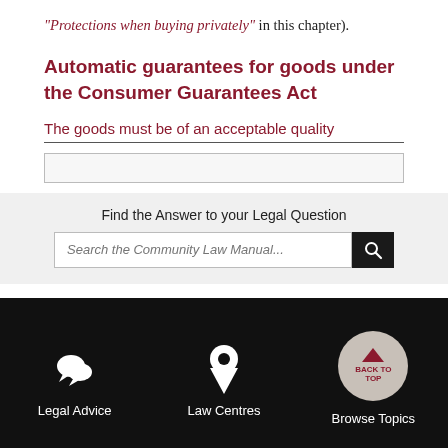“Protections when buying privately” in this chapter).
Automatic guarantees for goods under the Consumer Guarantees Act
The goods must be of an acceptable quality
Find the Answer to your Legal Question
Search the Community Law Manual...
Legal Advice  Law Centres  Browse Topics